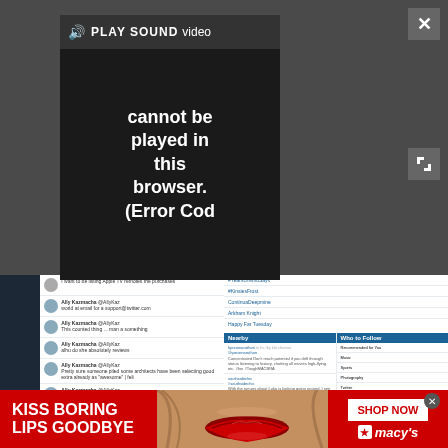[Figure (screenshot): Video player overlay on dark background showing 'PLAY SOUND' bar and video error message: 'Video cannot be played in this browser. (Error Cod']
[Figure (screenshot): Twitter web interface screenshot showing tweet feed from Ally Kazmacha, trending topics panel (#YearsOfWhoSays, #KinsiesFrost, ContinuaDeepmine, Arkham Knight, Happy Far Tuesday), Nearby tweets, and Who to Follow panel with categories: Recommended for You, Music, Sports, Photography, Twitter, Entertainment, Funny]
[Figure (photo): Macy's advertisement banner: red background, white bold text 'KISS BORING LIPS GOODBYE', photo of woman with red lips in center, white 'SHOP NOW' button, Macy's star logo]